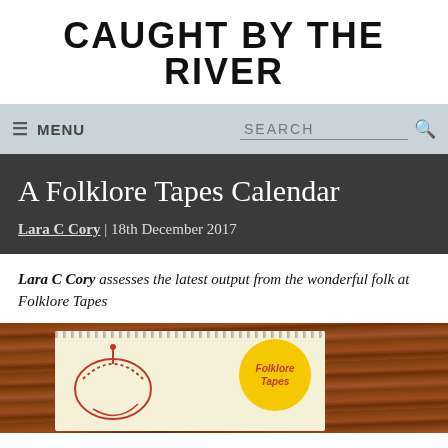CAUGHT BY THE RIVER
≡ MENU    SEARCH
A Folklore Tapes Calendar
Lara C Cory | 18th December 2017
Lara C Cory assesses the latest output from the wonderful folk at Folklore Tapes
[Figure (photo): A spiral-bound calendar/notepad on a wooden table background, with red hand-drawn illustrations on the paper and a yellow circular label reading 'Folklore Tapes']